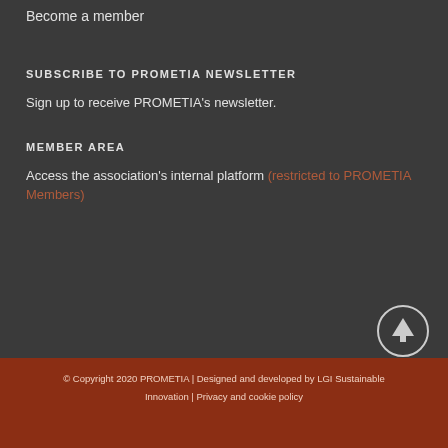Members
Become a member
SUBSCRIBE TO PROMETIA NEWSLETTER
Sign up to receive PROMETIA's newsletter.
MEMBER AREA
Access the association's internal platform (restricted to PROMETIA Members)
[Figure (illustration): Circular up-arrow scroll-to-top button with white border on dark background]
© Copyright 2020 PROMETIA | Designed and developed by LGI Sustainable Innovation | Privacy and cookie policy